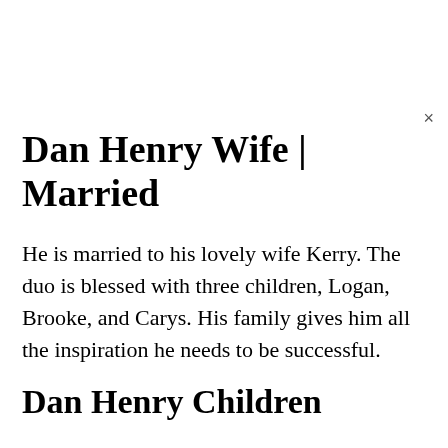Dan Henry Wife | Married
He is married to his lovely wife Kerry. The duo is blessed with three children, Logan, Brooke, and Carys. His family gives him all the inspiration he needs to be successful.
Dan Henry Children